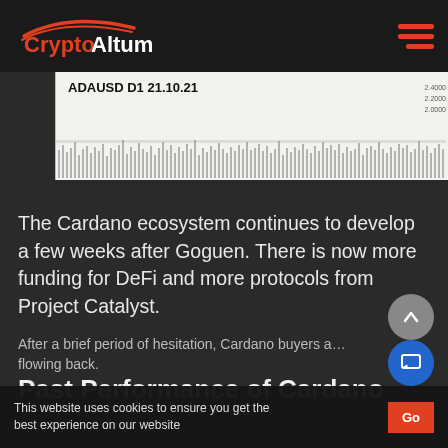CryptoAltum
[Figure (screenshot): ADAUSD D1 21.10.21 candlestick chart screenshot]
The Cardano ecosystem continues to develop a few weeks after Goguen. There is now more funding for DeFi and more protocols from Project Catalyst.
Past Performance of Cardano
After a brief period of hesitation, Cardano buyers a… flowing back.
This website uses cookies to ensure you get the best experience on our website